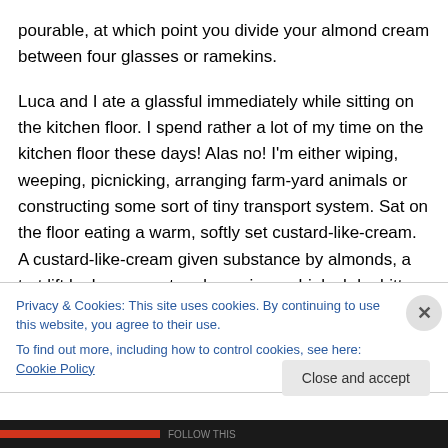pourable, at which point you divide your almond cream between four glasses or ramekins.

Luca and I ate a glassful immediately while sitting on the kitchen floor. I spend rather a lot of my time on the kitchen floor these days! Alas no! I'm either wiping, weeping, picnicking, arranging farm-yard animals or constructing some sort of tiny transport system. Sat on the floor eating a warm, softly set custard-like-cream. A custard-like-cream given substance by almonds, a tart lift by lemon zest and marzipan whiplash by bitter almonds.
Privacy & Cookies: This site uses cookies. By continuing to use this website, you agree to their use.
To find out more, including how to control cookies, see here: Cookie Policy
Close and accept